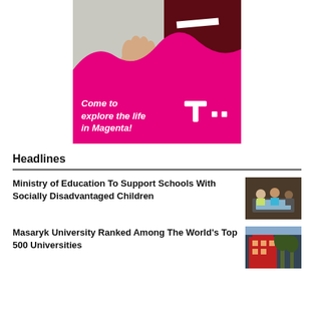[Figure (photo): Advertisement for Deutsche Telekom – photo of a hand and dark red jacket above a magenta background with text 'Come to explore the life in Magenta!' and the T-Mobile T logo]
Headlines
Ministry of Education To Support Schools With Socially Disadvantaged Children
Masaryk University Ranked Among The World's Top 500 Universities